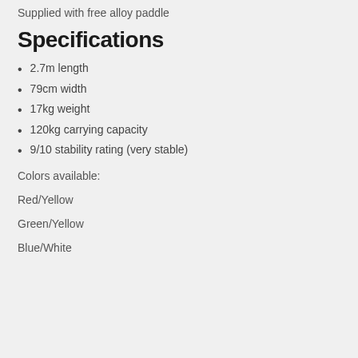Supplied with free alloy paddle
Specifications
2.7m length
79cm width
17kg weight
120kg carrying capacity
9/10 stability rating (very stable)
Colors available:
Red/Yellow
Green/Yellow
Blue/White